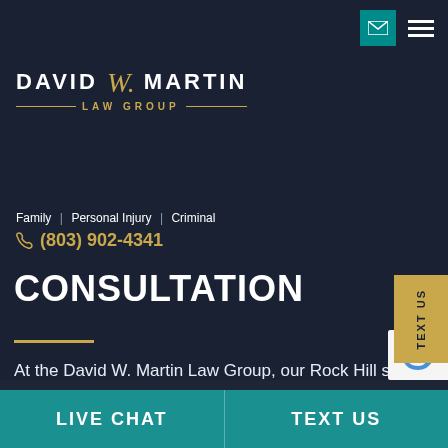[Figure (screenshot): Website screenshot of David W. Martin Law Group showing dark navy background with watermark text, logo, navigation, phone number, consultation heading, body text, TEXT US tab, and teal bottom bar with LIVE CHAT and TEXT US options.]
DAVID W. MARTIN LAW GROUP | Family | Personal Injury | Criminal | (803) 902-4341
CONSULTATION
At the David W. Martin Law Group, our Rock Hill sexual abuse attorneys in Rock Hill know how hard it is for survivors to come forward, which is why we provide a professional, private, and deeply caring environment for each to tell their stories.
LIVE CHAT | TEXT US